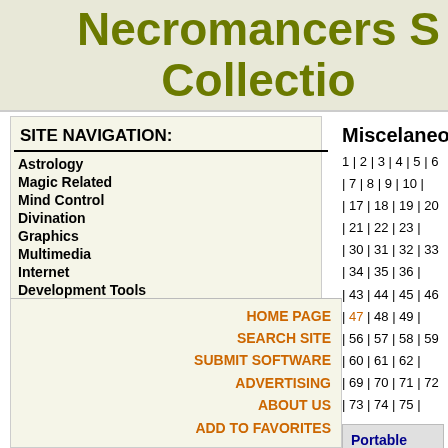Necromancers S Collection
SITE NAVIGATION:
Astrology
Magic Related
Mind Control
Divination
Graphics
Multimedia
Internet
Development Tools
Business
Antivirus
Games
Miscelaneous
Utilities
Screensavers
Educational Tools
Pocket PC
HOME PAGE
SEARCH SITE
SUBMIT SOFTWARE
ADVERTISING
ABOUT US
ADD TO FAVORITES
Miscelaneous
1 | 2 | 3 | 4 | 5 | 6 | 7 | 8 | 9 | 10 | | 17 | 18 | 19 | 20 | 21 | 22 | 23 | | 30 | 31 | 32 | 33 | 34 | 35 | 36 | | 43 | 44 | 45 | 46 | 47 | 48 | 49 | | 56 | 57 | 58 | 59 | 60 | 61 | 62 | | 69 | 70 | 71 | 72 | 73 | 74 | 75 |
Portable Application Description Viewer 3.1.6 (Free)
Portable application description extracts relevant data from PAD. Freeware application stores extra .CSV (comma separated values environment that helpful for web
PowerISO 2.1 ($29.95)
PowerISO is a powerful image compression tool, which allows compress, edit and convert ISO them with internal virtual drive T